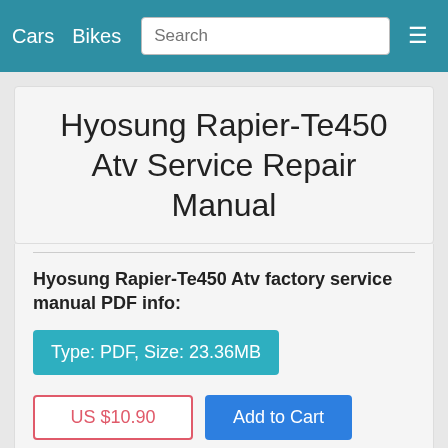Cars   Bikes   Search   ☰
Hyosung Rapier-Te450 Atv Service Repair Manual
Hyosung Rapier-Te450 Atv factory service manual PDF info:
Type: PDF, Size: 23.36MB
US $10.90   Add to Cart